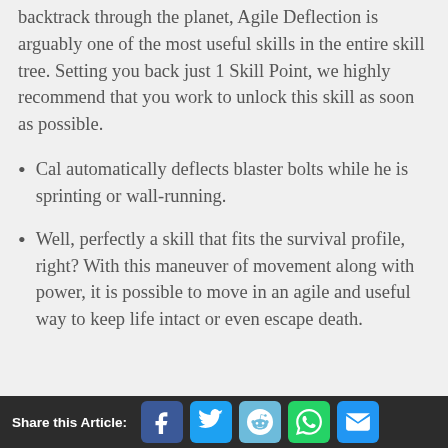backtrack through the planet, Agile Deflection is arguably one of the most useful skills in the entire skill tree. Setting you back just 1 Skill Point, we highly recommend that you work to unlock this skill as soon as possible.
Cal automatically deflects blaster bolts while he is sprinting or wall-running.
Well, perfectly a skill that fits the survival profile, right? With this maneuver of movement along with power, it is possible to move in an agile and useful way to keep life intact or even escape death.
Share this Article: